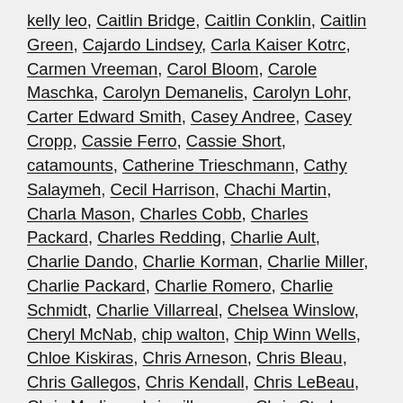kelly leo, Caitlin Bridge, Caitlin Conklin, Caitlin Green, Cajardo Lindsey, Carla Kaiser Kotrc, Carmen Vreeman, Carol Bloom, Carole Maschka, Carolyn Demanelis, Carolyn Lohr, Carter Edward Smith, Casey Andree, Casey Cropp, Cassie Ferro, Cassie Short, catamounts, Catherine Trieschmann, Cathy Salaymeh, Cecil Harrison, Chachi Martin, Charla Mason, Charles Cobb, Charles Packard, Charles Redding, Charlie Ault, Charlie Dando, Charlie Korman, Charlie Miller, Charlie Packard, Charlie Romero, Charlie Schmidt, Charlie Villarreal, Chelsea Winslow, Cheryl McNab, chip walton, Chip Winn Wells, Chloe Kiskiras, Chris Arneson, Chris Bleau, Chris Gallegos, Chris Kendall, Chris LeBeau, Chris Medina, chris silberman, Chris Starkey, Chris Wiger, Christian Mast, Christian Munck, Christine Rowan, Christopher Alleman, Christopher Galinski, Christopher Kelly, Christopher Leo, Christopher Valsha, Christopher Wells, Christopher Willard, church